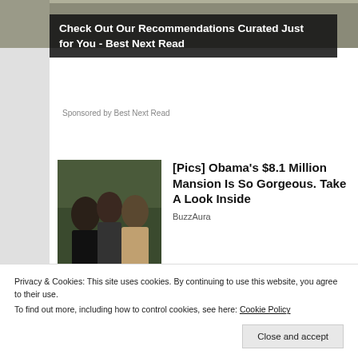[Figure (photo): Banner photo strip at top of page, showing a scenic/outdoor scene in muted tones]
Check Out Our Recommendations Curated Just for You - Best Next Read
Sponsored by Best Next Read
[Figure (photo): Thumbnail photo of Obama family group portrait outdoors]
[Pics] Obama's $8.1 Million Mansion Is So Gorgeous. Take A Look Inside
BuzzAura
[Figure (photo): Thumbnail photo of a young Asian girl face closeup]
The Girl Uploaded A Short Video On TikTok & This Happened
Privacy & Cookies: This site uses cookies. By continuing to use this website, you agree to their use.
To find out more, including how to control cookies, see here: Cookie Policy
Close and accept